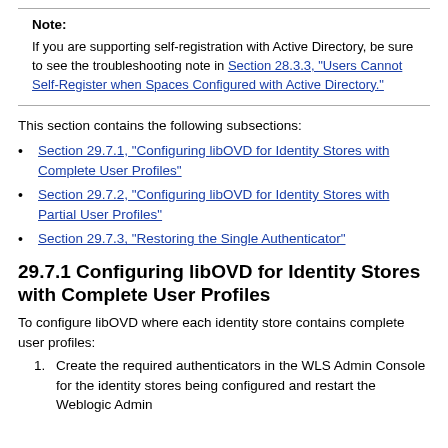Note:
If you are supporting self-registration with Active Directory, be sure to see the troubleshooting note in Section 28.3.3, "Users Cannot Self-Register when Spaces Configured with Active Directory."
This section contains the following subsections:
Section 29.7.1, "Configuring libOVD for Identity Stores with Complete User Profiles"
Section 29.7.2, "Configuring libOVD for Identity Stores with Partial User Profiles"
Section 29.7.3, "Restoring the Single Authenticator"
29.7.1 Configuring libOVD for Identity Stores with Complete User Profiles
To configure libOVD where each identity store contains complete user profiles:
1. Create the required authenticators in the WLS Admin Console for the identity stores being configured and restart the Weblogic Admin